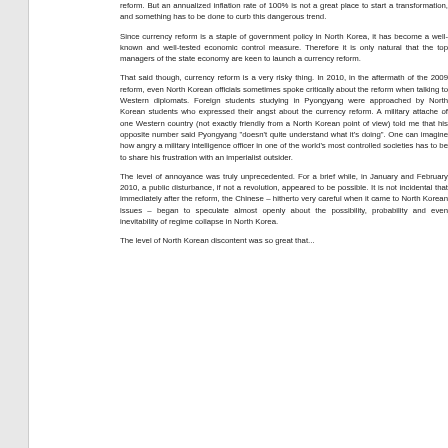reform. But an annualized inflation rate of 100% is not a great place to start a transformation, and something has to be done to curb this dangerous trend.
Since currency reform is a staple of government policy in North Korea, it has become a well-known and well-tested economic control measure. Therefore it is only natural that the top managers of the state economy are keen to launch a currency reform.
That said though, currency reform is a very risky thing. In 2010, in the aftermath of the 2009 reform, even North Korean officials sometimes spoke critically about the reform when talking to Western diplomats. Foreign students studying in Pyongyang were approached by North Korean students who expressed their angst about the currency reform. A military attache of one Western country (not exactly friendly from a North Korean point of view) told me that his opposite number said Pyongyang "doesn't quite understand what it's doing". One can imagine how angry a military intelligence officer in one of the world's most controlled societies has to be to share his frustration with an imperialist outsider.
The level of annoyance was truly unprecedented. For a brief while, in January and February 2010, a public disturbance, if not a revolution, appeared to be possible. It is not incidental that immediately after the reform, the Chinese – hitherto very careful when it came to North Korean issues – began to speculate almost openly about the possibility, probability and even inevitability of regime collapse in North Korea.